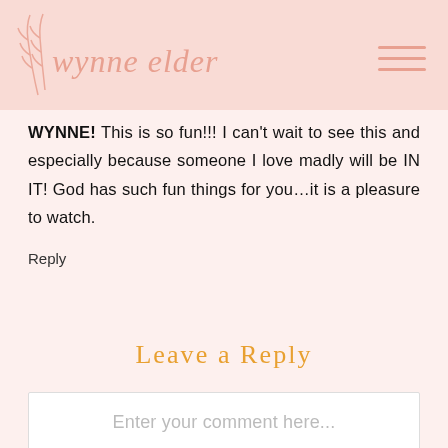wynne elder
WYNNE! This is so fun!!! I can't wait to see this and especially because someone I love madly will be IN IT! God has such fun things for you...it is a pleasure to watch.
Reply
Leave a Reply
Enter your comment here...